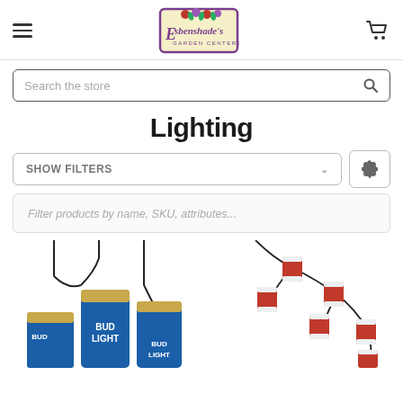[Figure (logo): Esbenshade's Garden Centers logo with purple border and floral illustration]
Search the store
Lighting
SHOW FILTERS
Filter products by name, SKU, attributes...
[Figure (photo): Bud Light beer can string lights — multiple cans hanging on black wire strands]
[Figure (photo): Red and white beer can string lights — multiple small cans on black wire strands]